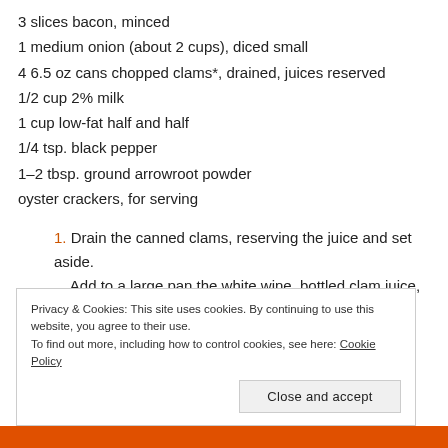3 slices bacon, minced
1 medium onion (about 2 cups), diced small
4 6.5 oz cans chopped clams*, drained, juices reserved
1/2 cup 2% milk
1 cup low-fat half and half
1/4 tsp. black pepper
1-2 tbsp. ground arrowroot powder
oyster crackers, for serving
1. Drain the canned clams, reserving the juice and set aside. Add to a large pan the white wine, bottled clam juice, reserved clam juice and diced potatoes and bring to boil.
Privacy & Cookies: This site uses cookies. By continuing to use this website, you agree to their use. To find out more, including how to control cookies, see here: Cookie Policy
Close and accept